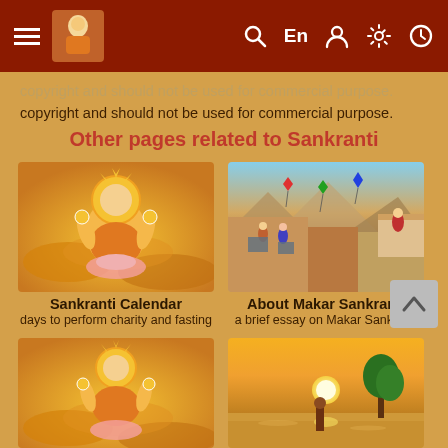Navigation bar with hamburger menu, logo, search, En, user, settings, clock icons
copyright and should not be used for commercial purpose.
Other pages related to Sankranti
[Figure (illustration): Illustration of a Hindu deity (Surya/Sun God) seated on a lotus, golden/orange background]
Sankranti Calendar
days to perform charity and fasting
[Figure (photo): Photo of kite flying festival scene from rooftop with mountains in background]
About Makar Sankranti
a brief essay on Makar Sankranti
[Figure (illustration): Illustration of a Hindu deity (Surya/Sun God) seated on lotus, golden/orange background]
[Figure (illustration): Illustration of a person bathing in a river at sunset/dusk with golden sky]